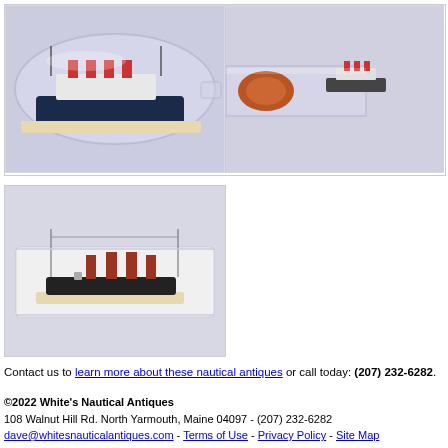[Figure (photo): Ship in a bottle – left panel showing full bottle with ocean liner model inside]
[Figure (photo): Ship in a bottle – right panel showing close-up of bottle neck/cork end]
[Figure (photo): Ship in a bottle – bottom panel showing close-up interior view of the ship model]
Contact us to learn more about these nautical antiques or call today: (207) 232-6282.
©2022 White's Nautical Antiques
108 Walnut Hill Rd. North Yarmouth, Maine 04097 - (207) 232-6282
dave@whitesnauticalantiques.com - Terms of Use - Privacy Policy - Site Map
The premiere source of nautical antiques for collectors, enthusiasts, and gift-givers everywhere